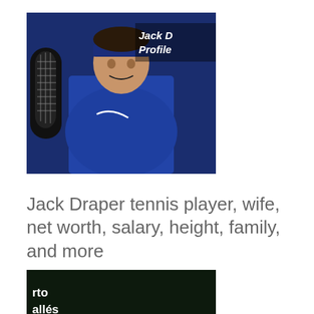[Figure (photo): Jack Draper tennis player wearing blue outfit and headband, holding a tennis racket, with text overlay 'Jack D Profile' in italic white bold font]
Jack Draper tennis player, wife, net worth, salary, height, family, and more
[Figure (photo): Tennis player in white outfit hitting a backhand shot on grass court, with partial text overlay 'rto allés a' in white bold font on dark background]